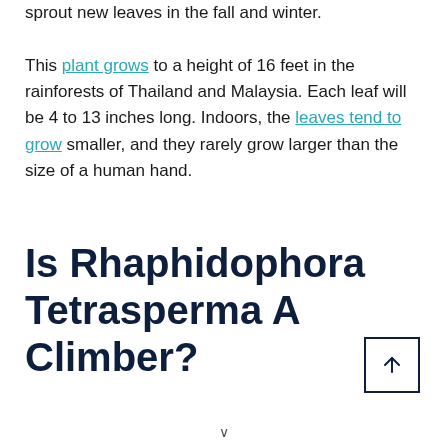sprout new leaves in the fall and winter. This plant grows to a height of 16 feet in the rainforests of Thailand and Malaysia. Each leaf will be 4 to 13 inches long. Indoors, the leaves tend to grow smaller, and they rarely grow larger than the size of a human hand.
Is Rhaphidophora Tetrasperma A Climber?